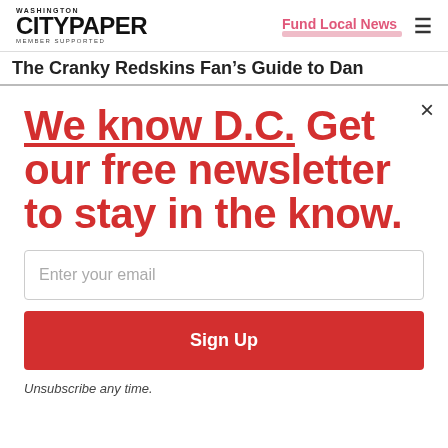WASHINGTON CITYPAPER MEMBER SUPPORTED | Fund Local News
The Cranky Redskins Fan's Guide to Dan
We know D.C. Get our free newsletter to stay in the know.
Enter your email
Sign Up
Unsubscribe any time.